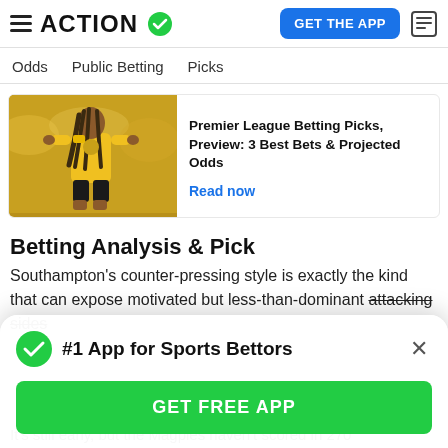ACTION (logo with checkmark) | GET THE APP
Odds  Public Betting  Picks
[Figure (photo): Photo of a footballer in a yellow Wolverhampton Wanderers jersey]
Premier League Betting Picks, Preview: 3 Best Bets & Projected Odds
Read now
Betting Analysis & Pick
Southampton's counter-pressing style is exactly the kind that can expose motivated but less-than-dominant attacking sides
#1 App for Sports Bettors
GET FREE APP
It's still early, but the Magpies haven't scored in 270